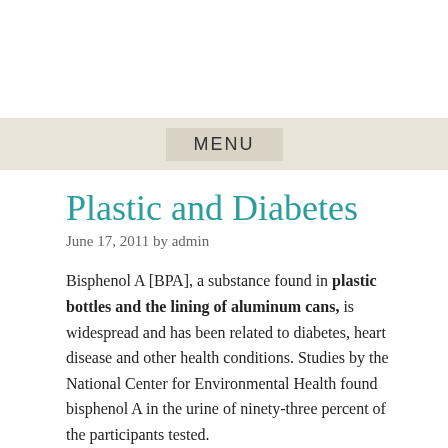MENU
Plastic and Diabetes
June 17, 2011 by admin
Bisphenol A [BPA], a substance found in plastic bottles and the lining of aluminum cans, is widespread and has been related to diabetes, heart disease and other health conditions. Studies by the National Center for Environmental Health found bisphenol A in the urine of ninety-three percent of the participants tested.